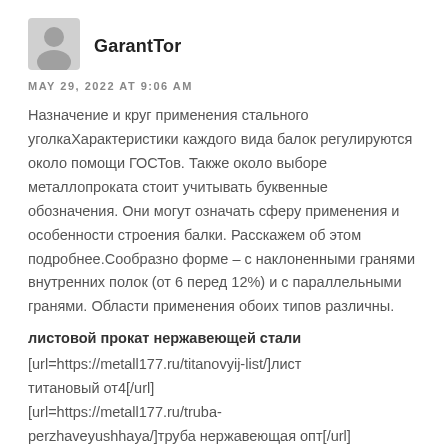[Figure (illustration): Gray avatar/profile silhouette icon]
GarantTor
MAY 29, 2022 AT 9:06 AM
Назначение и круг применения стального уголкаХарактеристики каждого вида балок регулируются около помощи ГОСТов. Также около выборе металлопроката стоит учитывать буквенные обозначения. Они могут означать сферу применения и особенности строения балки. Расскажем об этом подробнее.Сообразно форме – с наклоненными гранями внутренних полок (от 6 перед 12%) и с параллельными гранями. Области применения обоих типов различны.
листовой прокат нержавеющей стали
[url=https://metall177.ru/titanovyij-list/]лист титановый от4[/url]
[url=https://metall177.ru/truba-perzhaveyushhaya/]труба нержавеющая опт[/url]